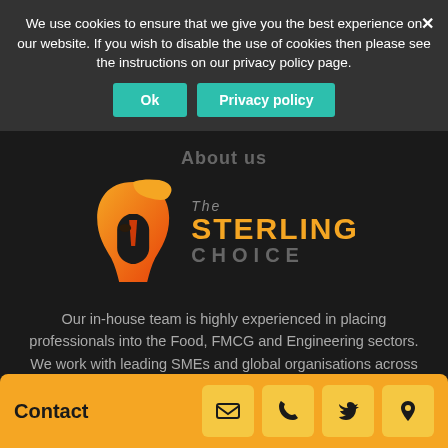We use cookies to ensure that we give you the best experience on our website. If you wish to disable the use of cookies then please see the instructions on our privacy policy page.
Ok | Privacy policy
About us
[Figure (logo): The Sterling Choice logo — orange/red Spartan helmet silhouette with text 'The STERLING CHOICE']
Our in-house team is highly experienced in placing professionals into the Food, FMCG and Engineering sectors. We work with leading SMEs and global organisations across the UK and internationally.
[Figure (logo): Gangmasters & Labour Abuse Authority badge/logo with crown emblem and vertical divider line]
Contact